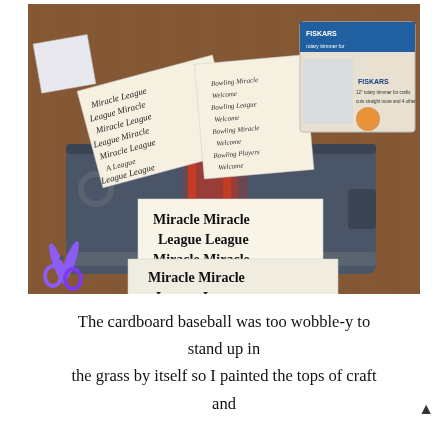[Figure (photo): Photo of a craft cutting board/paper trimmer on a wooden table, with printed paper sheets showing 'Miracle League' text in various sizes, scissors with purple handles, and a Fiskars box in the background.]
The cardboard baseball was too wobble-y to stand up in the grass by itself so I painted the tops of craft and